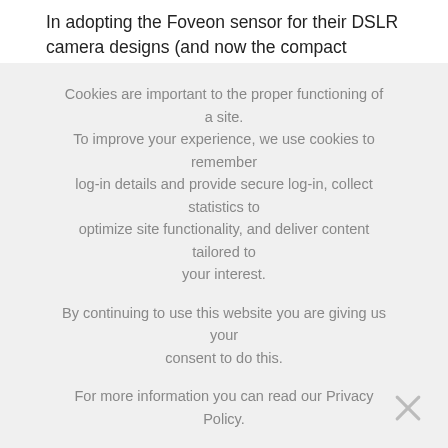In adopting the Foveon sensor for their DSLR camera designs (and now the compact camera as well) Sigma have created a range of unique imaging devices which exhibit very distinct qualities.
In the SD14 in particular, the Foveon sensor is matched to a particularly well considered camera which will enable both enthusiasts and professionals to fully exploit the inherent characteristics of the sensor. Sigma are to be congratulated in this respect, as they have effectively raised the potential quality of digital photography by taking an unusual, but uniquely qualified, approach to camera design. In combination with a comprehensive
Cookies are important to the proper functioning of a site. To improve your experience, we use cookies to remember log-in details and provide secure log-in, collect statistics to optimize site functionality, and deliver content tailored to your interest.

By continuing to use this website you are giving us your consent to do this.

For more information you can read our Privacy Policy.